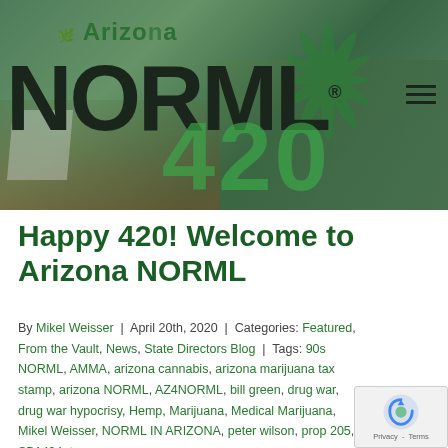[Figure (photo): Arizona NORML website header banner showing the NORML logo in large black text with '420' in green, Arizona text in green, cannabis leaf graphic, crowd of people in background, hamburger menu icon top right]
Happy 420! Welcome to Arizona NORML
By Mikel Weisser | April 20th, 2020 | Categories: Featured, From the Vault, News, State Directors Blog | Tags: 90s NORML, AMMA, arizona cannabis, arizona marijuana tax stamp, arizona NORML, AZ4NORML, bill green, drug war, drug war hypocrisy, Hemp, Marijuana, Medical Marijuana, Mikel Weisser, NORML IN ARIZONA, peter wilson, prop 205, SB1494, tom